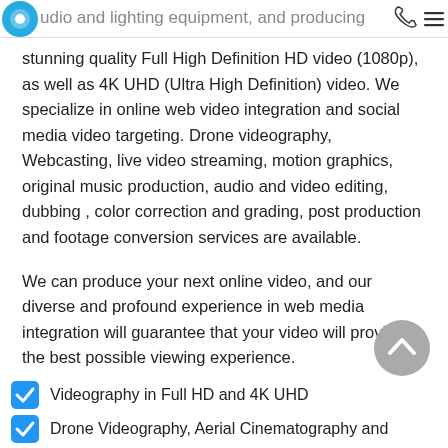udio and lighting equipment, and producing
stunning quality Full High Definition HD video (1080p), as well as 4K UHD (Ultra High Definition) video. We specialize in online web video integration and social media video targeting. Drone videography, Webcasting, live video streaming, motion graphics, original music production, audio and video editing, dubbing , color correction and grading, post production and footage conversion services are available.
We can produce your next online video, and our diverse and profound experience in web media integration will guarantee that your video will provide the best possible viewing experience.
Videography in Full HD and 4K UHD
Drone Videography, Aerial Cinematography and